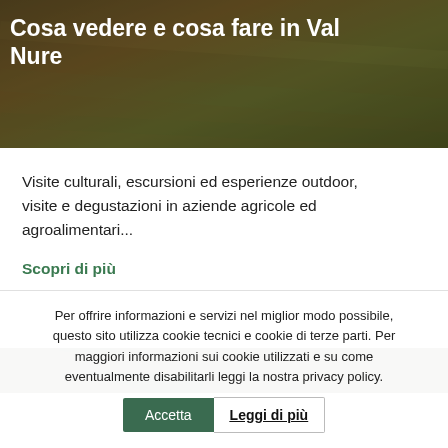[Figure (photo): Hero image with dark brownish/greenish natural landscape (grass/field) with a dark overlay]
Cosa vedere e cosa fare in Val Nure
Visite culturali, escursioni ed esperienze outdoor, visite e degustazioni in aziende agricole ed agroalimentari...
Scopri di più
[Figure (photo): Dark landscape image strip at bottom of page]
Per offrire informazioni e servizi nel miglior modo possibile, questo sito utilizza cookie tecnici e cookie di terze parti. Per maggiori informazioni sui cookie utilizzati e su come eventualmente disabilitarli leggi la nostra privacy policy.
Accetta  Leggi di più